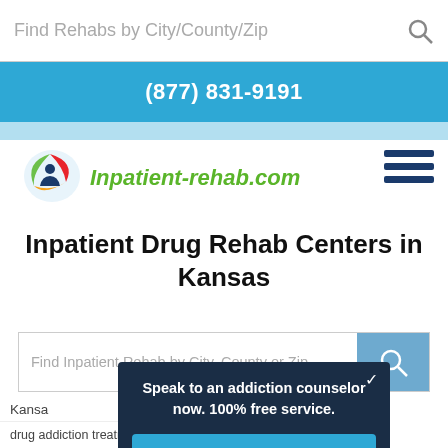Find Rehabs by City/County/Zip
(877) 831-9191
[Figure (logo): Inpatient-rehab.com logo with colorful speech bubble icon and green italic text]
Inpatient Drug Rehab Centers in Kansas
Find Inpatient Rehab by City, County or Zip
Speak to an addiction counselor now. 100% free service.
(877) 831-9191
Kansas
drug addiction treatment centers in Kansas